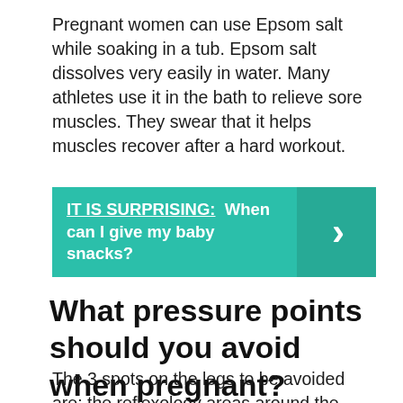Pregnant women can use Epsom salt while soaking in a tub. Epsom salt dissolves very easily in water. Many athletes use it in the bath to relieve sore muscles. They swear that it helps muscles recover after a hard workout.
[Figure (infographic): Teal/green banner with text 'IT IS SURPRISING: When can I give my baby snacks?' and a right-pointing chevron arrow on a darker teal background on the right side.]
What pressure points should you avoid when pregnant?
The 3 spots on the legs to be avoided are: the reflexology areas around the ankles, SP6 acupressure point, urinary bladder 60, and